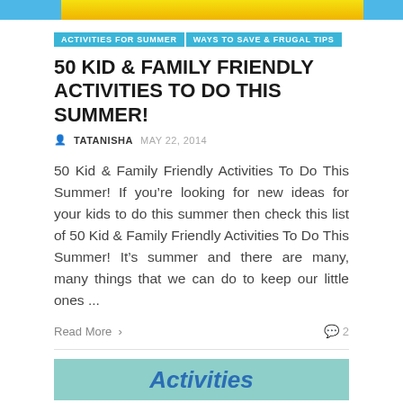[Figure (photo): Top strip with blue blocks on left and right and yellow/graphic center image]
ACTIVITIES FOR SUMMER | WAYS TO SAVE & FRUGAL TIPS
50 KID & FAMILY FRIENDLY ACTIVITIES TO DO THIS SUMMER!
TATANISHA  MAY 22, 2014
50 Kid & Family Friendly Activities To Do This Summer! If you’re looking for new ideas for your kids to do this summer then check this list of 50 Kid & Family Friendly Activities To Do This Summer! It’s summer and there are many, many things that we can do to keep our little ones ...
Read More >
2
[Figure (photo): Bottom teal/aqua colored image strip with 'Activities' text visible in blue]